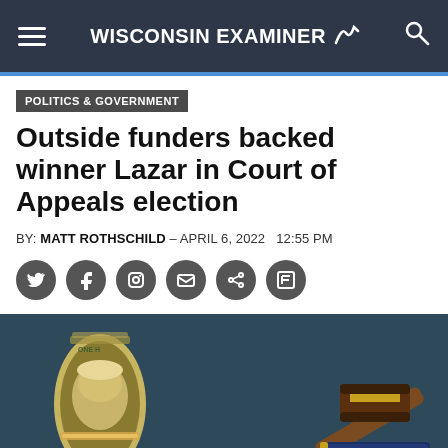WISCONSIN EXAMINER
POLITICS & GOVERNMENT
Outside funders backed winner Lazar in Court of Appeals election
BY: MATT ROTHSCHILD – APRIL 6, 2022   12:55 PM
[Figure (photo): A rolled bundle of $100 bills secured with a rubber band on the left, and a judge's wooden gavel resting on a book on the right, both against a dark teal background.]